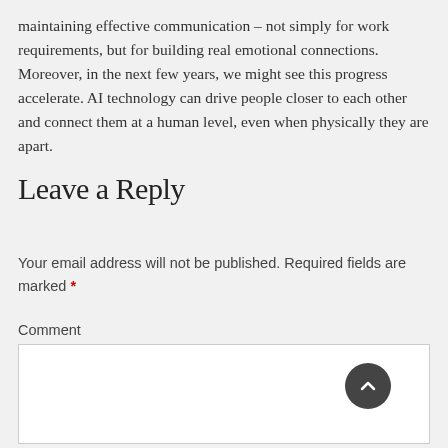maintaining effective communication – not simply for work requirements, but for building real emotional connections. Moreover, in the next few years, we might see this progress accelerate. AI technology can drive people closer to each other and connect them at a human level, even when physically they are apart.
Leave a Reply
Your email address will not be published. Required fields are marked *
Comment